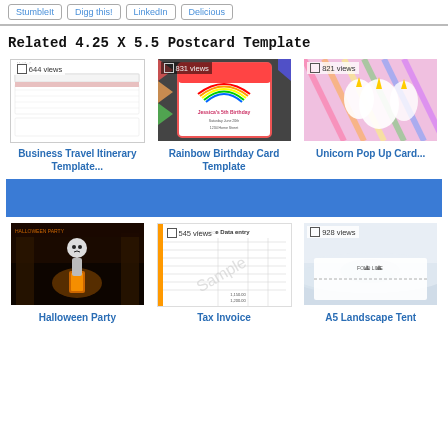StumbleIt  Digg this!  LinkedIn  Delicious
Related 4.25 X 5.5 Postcard Template
[Figure (photo): Business Travel Itinerary Template thumbnail with 644 views badge]
[Figure (photo): Rainbow Birthday Card Template thumbnail with 831 views badge]
[Figure (photo): Unicorn Pop Up Card thumbnail with 821 views badge]
Business Travel Itinerary Template...
Rainbow Birthday Card Template
Unicorn Pop Up Card...
[Figure (photo): Halloween Party thumbnail - dark scene with skeleton and lantern]
[Figure (photo): Tax Invoice Data entry thumbnail with 545 views badge and Sample watermark]
[Figure (photo): A5 Landscape Tent thumbnail with 928 views badge showing fold line]
Halloween Party
Tax Invoice
A5 Landscape Tent